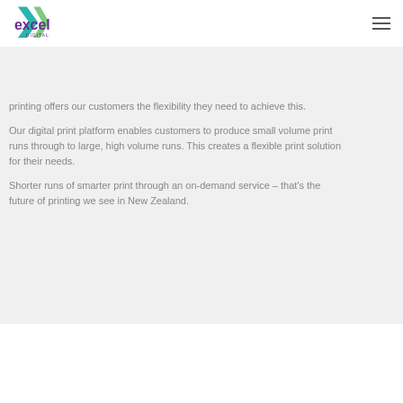[Figure (logo): Excel Digital logo with purple text and green/teal checkmark graphic]
printing offers our customers the flexibility they need to achieve this.
Our digital print platform enables customers to produce small volume print runs through to large, high volume runs. This creates a flexible print solution for their needs.
Shorter runs of smarter print through an on-demand service – that's the future of printing we see in New Zealand.